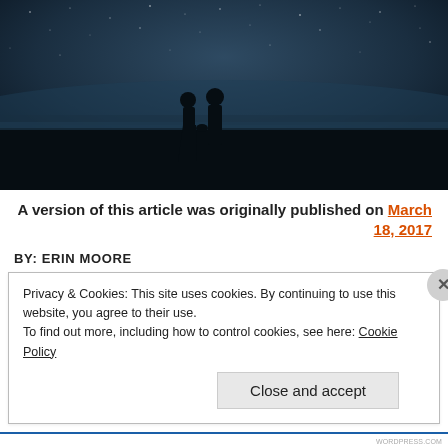[Figure (photo): Silhouette of a couple holding hands outdoors at dusk/night with a starry sky and horizon in the background, dark romantic atmosphere.]
A version of this article was originally published on March 18, 2017
BY: ERIN MOORE
Privacy & Cookies: This site uses cookies. By continuing to use this website, you agree to their use.
To find out more, including how to control cookies, see here: Cookie Policy
Close and accept